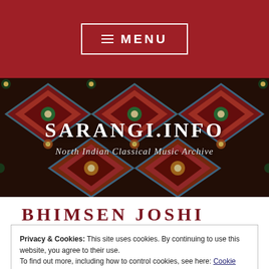≡ MENU
[Figure (photo): Colorful Indian textile/fabric pattern with geometric diamond shapes and floral motifs in red, blue, green, yellow, and cream colors — used as a hero banner background]
SARANGI.INFO
North Indian Classical Music Archive
BHIMSEN JOSHI
Privacy & Cookies: This site uses cookies. By continuing to use this website, you agree to their use.
To find out more, including how to control cookies, see here: Cookie Policy
Close and accept